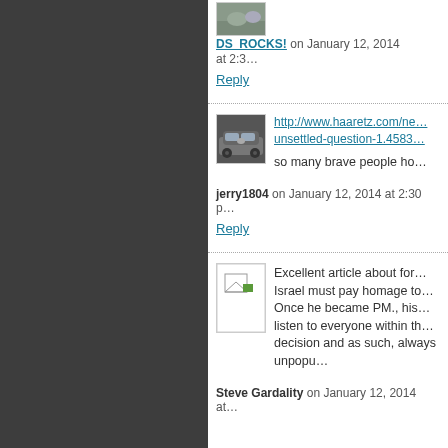[Figure (photo): User avatar showing rocks/landscape, partially visible at top]
DS_ROCKS! on January 12, 2014 at 2:3…
Reply
[Figure (photo): User avatar showing a silver car (Alfa Romeo)]
http://www.haaretz.com/ne… unsettled-question-1.4583…
so many brave people ho…
jerry1804 on January 12, 2014 at 2:30 p…
Reply
[Figure (photo): Broken image placeholder with green triangle icon]
Excellent article about for… Israel must pay homage to… Once he became PM., his… listen to everyone within th… decision and as such, always unpopu…
Steve Gardality on January 12, 2014 at…